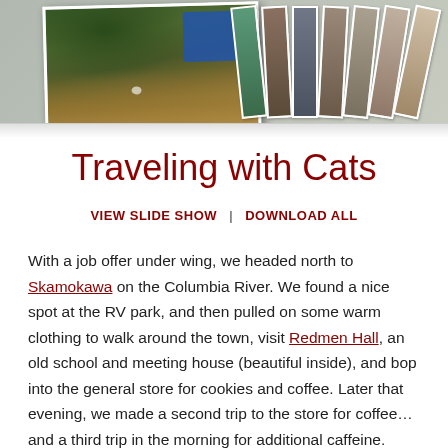[Figure (photo): A collage of travel photos including a main outdoor nature/forest scene with fallen leaves, a blue jacket visible, and a fan of vertical strip photos on the right side]
Traveling with Cats
VIEW SLIDE SHOW   DOWNLOAD ALL
With a job offer under wing, we headed north to Skamokawa on the Columbia River. We found a nice spot at the RV park, and then pulled on some warm clothing to walk around the town, visit Redmen Hall, an old school and meeting house (beautiful inside), and bop into the general store for cookies and coffee. Later that evening, we made a second trip to the store for coffee… and a third trip in the morning for additional caffeine. Who needs Starbucks when you